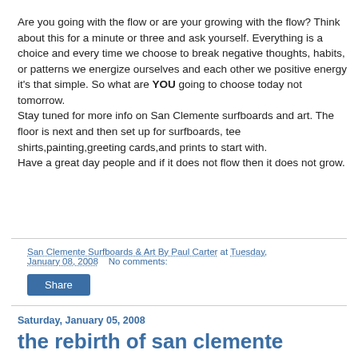Are you going with the flow or are your growing with the flow? Think about this for a minute or three and ask yourself. Everything is a choice and every time we choose to break negative thoughts, habits, or patterns we energize ourselves and each other we positive energy it's that simple. So what are YOU going to choose today not tomorrow.
Stay tuned for more info on San Clemente surfboards and art. The floor is next and then set up for surfboards, tee shirts,painting,greeting cards,and prints to start with.
Have a great day people and if it does not flow then it does not grow.
San Clemente Surfboards & Art By Paul Carter at Tuesday, January 08, 2008   No comments:
Share
Saturday, January 05, 2008
the rebirth of san clemente surfboards